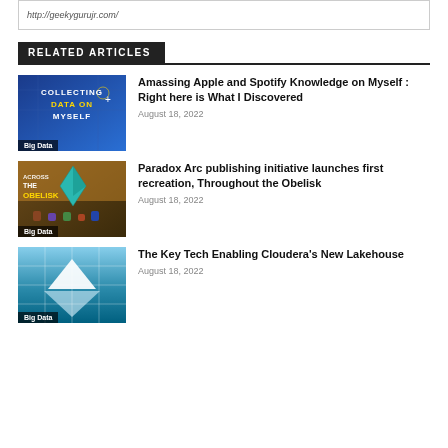http://geekygurujr.com/
RELATED ARTICLES
[Figure (photo): Blue graphic with text COLLECTING DATA ON MYSELF with Big Data label]
Amassing Apple and Spotify Knowledge on Myself : Right here is What I Discovered
August 18, 2022
[Figure (photo): Game art image showing Across the Obelisk with Big Data label]
Paradox Arc publishing initiative launches first recreation, Throughout the Obelisk
August 18, 2022
[Figure (photo): Iceberg photo with grid overlay and Big Data label]
The Key Tech Enabling Cloudera's New Lakehouse
August 18, 2022